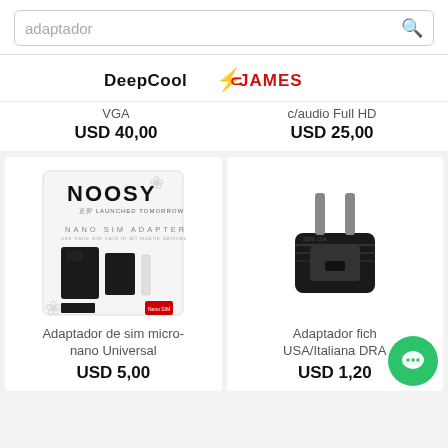[Figure (screenshot): Search bar with text 'adaptador' and search icon]
[Figure (logo): DeepCool and James brand logos with lightning bolt icon]
VGA
USD 40,00
c/audio Full HD
USD 25,00
[Figure (photo): Noosy Nano SIM Adapter product in white packaging showing SIM card adapters]
[Figure (photo): Black power plug adapter USA/Italiana]
Adaptador de sim micro-nano Universal
USD 5,00
Adaptador fich USA/Italiana DRA
USD 1,20